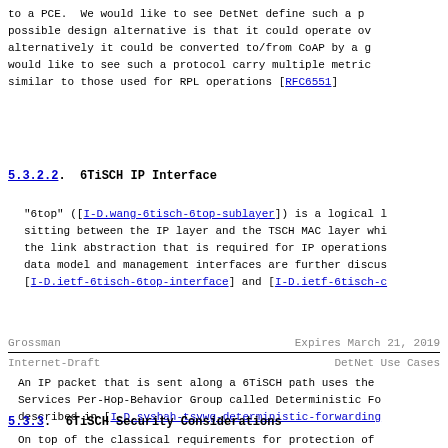to a PCE.  We would like to see DetNet define such a p possible design alternative is that it could operate ov alternatively it could be converted to/from CoAP by a g would like to see such a protocol carry multiple metric similar to those used for RPL operations [RFC6551]
5.3.2.2.  6TiSCH IP Interface
"6top" ([I-D.wang-6tisch-6top-sublayer]) is a logical l sitting between the IP layer and the TSCH MAC layer whi the link abstraction that is required for IP operations data model and management interfaces are further discus [I-D.ietf-6tisch-6top-interface] and [I-D.ietf-6tisch-c
Grossman                     Expires March 21, 2019
Internet-Draft                   DetNet Use Cases
An IP packet that is sent along a 6TiSCH path uses the Services Per-Hop-Behavior Group called Deterministic Fo described in [I-D.svshah-tsvwg-deterministic-forwarding
5.3.3.  6TiSCH Security Considerations
On top of the classical requirements for protection of